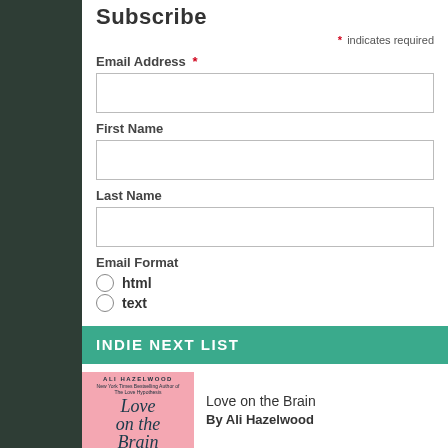Subscribe
* indicates required
Email Address *
First Name
Last Name
Email Format
html
text
INDIE NEXT LIST
Love on the Brain
By Ali Hazelwood